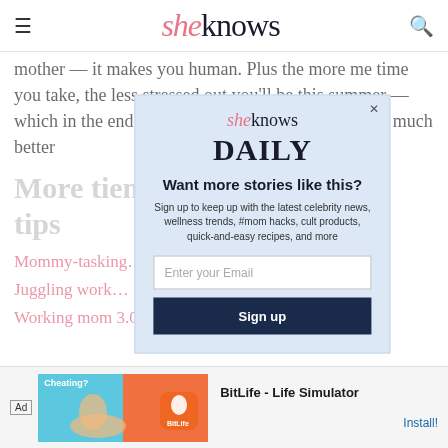sheknows
mother — it makes you human. Plus the more me time you take, the less stressed out you'll be this summer — which in the end makes you happier, healthier and a much better
More ti...ent tips
Mommy-tasking...o spend with your kids
Juggling work...
Working mom 3.0: Scheduled stillness
[Figure (screenshot): SheKnows Daily newsletter modal popup with email sign-up form. Contains SheKnows logo, DAILY heading, 'Want more stories like this?' headline, sign-up description text, email input field, and Sign up button.]
[Figure (infographic): Advertisement banner for BitLife - Life Simulator app, showing Ad label, illustrated graphic with blue/orange background, BitLife logo, app name, and Install button.]